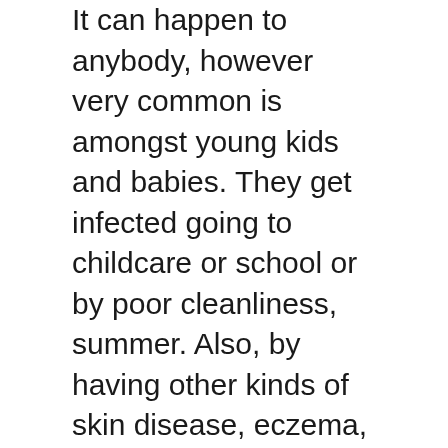It can happen to anybody, however very common is amongst young kids and babies. They get infected going to childcare or school or by poor cleanliness, summer. Also, by having other kinds of skin disease, eczema, diabetic issues, or reduced immunity levels in the system.
Signs and symptoms of impetigo differ based on the type. The very common symptoms are red blisters that pop quickly. The infection begins with patches of red itchy sores. Eventually, it turns into oozing blisters. This is how you can identify the impetigo skin infection.
Also, honey-colored crust that forms following the pustules burst, fluid-filled sores,